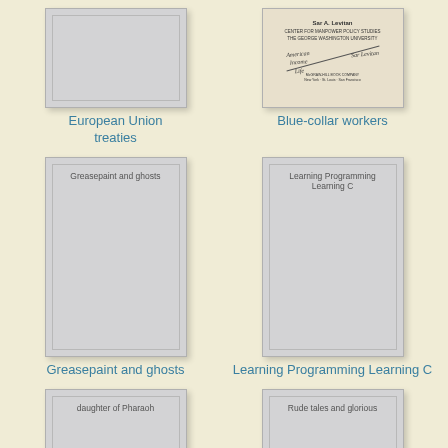[Figure (illustration): Book cover placeholder - European Union treaties]
European Union treaties
[Figure (photo): Book cover - Blue-collar workers, Sar A. Levitan, Center for Manpower Policy Studies, The George Washington University]
Blue-collar workers
[Figure (illustration): Book cover - Greasepaint and ghosts]
Greasepaint and ghosts
[Figure (illustration): Book cover - Learning Programming Learning C]
Learning Programming Learning C
[Figure (illustration): Book cover - daughter of Pharaoh]
[Figure (illustration): Book cover - Rude tales and glorious]